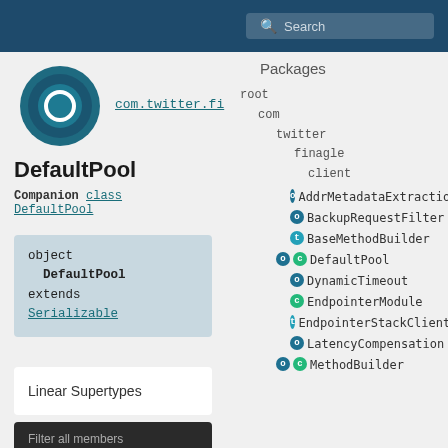Search
[Figure (logo): Circular logo with concentric teal/dark circles and a hollow ring icon in the center]
com.twitter.fi
DefaultPool
Companion class DefaultPool
object DefaultPool extends Serializable
Linear Supertypes
Filter all members
Packages
root
com
twitter
finagle
client
AddrMetadataExtraction
BackupRequestFilter
BaseMethodBuilder
DefaultPool
DynamicTimeout
EndpointerModule
EndpointerStackClient
LatencyCompensation
MethodBuilder